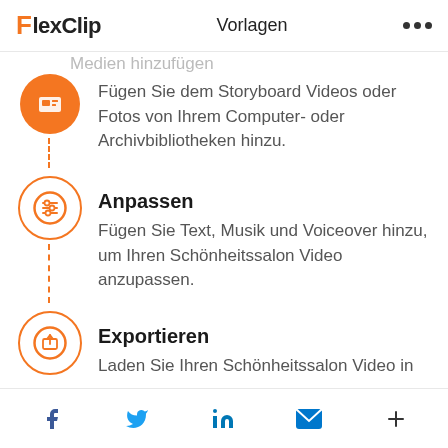FlexClip  Vorlagen  •••
Medien hinzufügen
[Figure (illustration): Orange filled circle icon with a media/storyboard symbol (rectangle with lines)]
Fügen Sie dem Storyboard Videos oder Fotos von Ihrem Computer- oder Archivbibliotheken hinzu.
[Figure (illustration): Orange outlined circle icon with sliders/adjust symbol]
Anpassen
Fügen Sie Text, Musik und Voiceover hinzu, um Ihren Schönheitssalon Video anzupassen.
[Figure (illustration): Orange outlined circle icon with export/upload symbol]
Exportieren
Laden Sie Ihren Schönheitssalon Video in
f  🐦  in  ✉  +